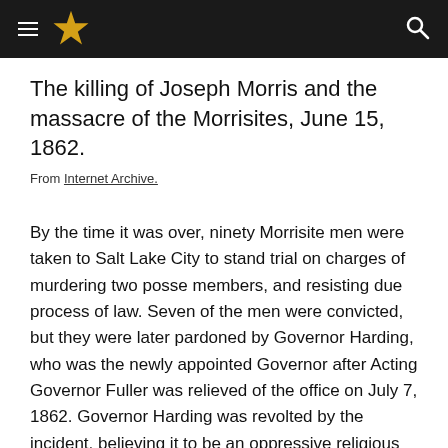≡ [star logo] [search icon]
The killing of Joseph Morris and the massacre of the Morrisites, June 15, 1862.
From Internet Archive.
By the time it was over, ninety Morrisite men were taken to Salt Lake City to stand trial on charges of murdering two posse members, and resisting due process of law. Seven of the men were convicted, but they were later pardoned by Governor Harding, who was the newly appointed Governor after Acting Governor Fuller was relieved of the office on July 7, 1862. Governor Harding was revolted by the incident, believing it to be an oppressive religious war within the territory.